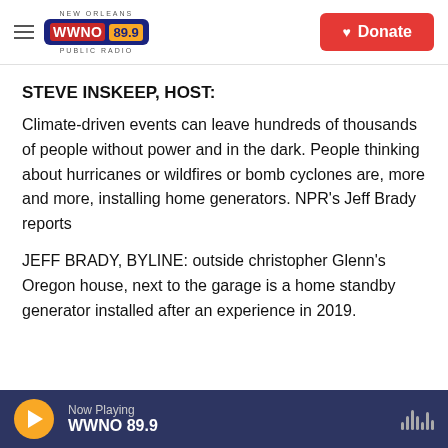NEW ORLEANS WWNO 89.9 PUBLIC RADIO | Donate
STEVE INSKEEP, HOST:
Climate-driven events can leave hundreds of thousands of people without power and in the dark. People thinking about hurricanes or wildfires or bomb cyclones are, more and more, installing home generators. NPR's Jeff Brady reports
JEFF BRADY, BYLINE: outside christopher Glenn's Oregon house, next to the garage is a home standby generator installed after an experience in 2019.
Now Playing WWNO 89.9